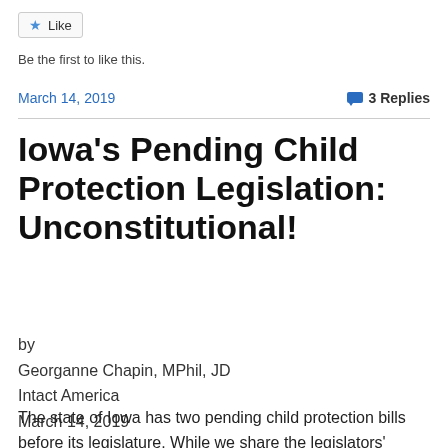[Figure (other): Like button widget with star icon]
Be the first to like this.
March 14, 2019    💬 3 Replies
Iowa's Pending Child Protection Legislation: Unconstitutional!
by
Georganne Chapin, MPhil, JD
Intact America
March 14, 2019
The state of Iowa has two pending child protection bills before its legislature. While we share the legislators'